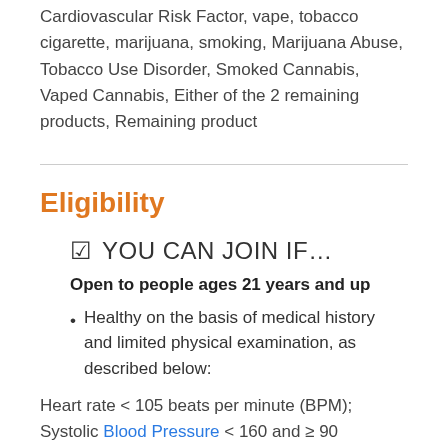Cardiovascular Risk Factor, vape, tobacco cigarette, marijuana, smoking, Marijuana Abuse, Tobacco Use Disorder, Smoked Cannabis, Vaped Cannabis, Either of the 2 remaining products, Remaining product
Eligibility
☑ YOU CAN JOIN IF…
Open to people ages 21 years and up
Healthy on the basis of medical history and limited physical examination, as described below:
Heart rate < 105 beats per minute (BPM); Systolic Blood Pressure ≥ 160 and ≥ 90…